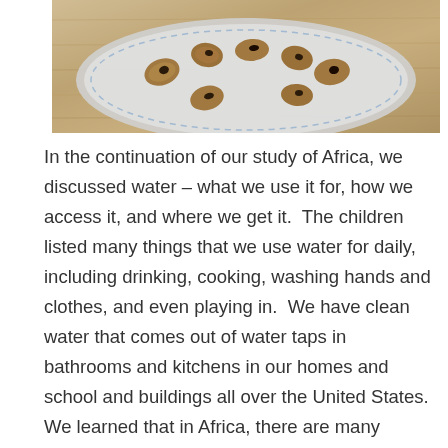[Figure (photo): Partial photo showing what appears to be nuts or food items in a round plastic container/tray on a wooden surface]
In the continuation of our study of Africa, we discussed water – what we use it for, how we access it, and where we get it.  The children listed many things that we use water for daily, including drinking, cooking, washing hands and clothes, and even playing in.  We have clean water that comes out of water taps in bathrooms and kitchens in our homes and school and buildings all over the United States.  We learned that in Africa, there are many places that do not have water taps in their homes, or access to clean water.  We watched some videos of children (Girls fetching water in Uganda) & (Water Walk) collecting water and carrying it back home in large jugs.  We observed that the water they collected was dirty, and they got it from rivers, small water holes, and other bodies of water that are sometimes many miles away.  We took turns trying to carry gallon jugs of